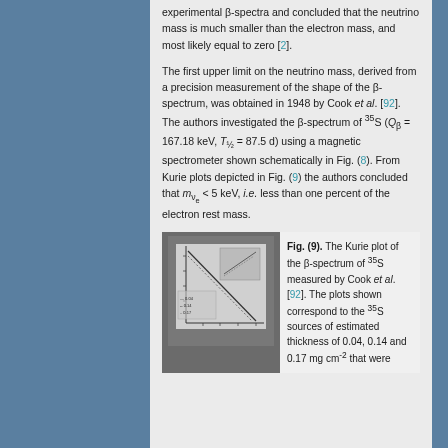experimental β-spectra and concluded that the neutrino mass is much smaller than the electron mass, and most likely equal to zero [2].
The first upper limit on the neutrino mass, derived from a precision measurement of the shape of the β-spectrum, was obtained in 1948 by Cook et al. [92]. The authors investigated the β-spectrum of 35S (Qβ = 167.18 keV, T½ = 87.5 d) using a magnetic spectrometer shown schematically in Fig. (8). From Kurie plots depicted in Fig. (9) the authors concluded that mνe < 5 keV, i.e. less than one percent of the electron rest mass.
[Figure (photo): Kurie plot graph of β-spectrum of 35S measured by Cook et al.]
Fig. (9). The Kurie plot of the β-spectrum of 35S measured by Cook et al. [92]. The plots shown correspond to the 35S sources of estimated thickness of 0.04, 0.14 and 0.17 mg cm-2 that were